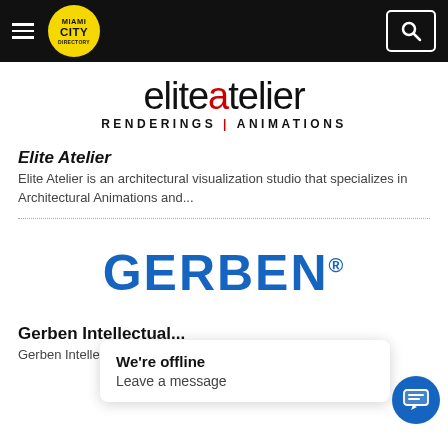Miami City Directory
[Figure (logo): Elite Atelier logo: stylized text reading eliteatelier in large font with red 'a', subtitle RENDERINGS | ANIMATIONS]
Elite Atelier
Elite Atelier is an architectural visualization studio that specializes in Architectural Animations and...
[Figure (logo): GERBEN® logo in bold blue text]
Gerben Intellectual...
Gerben Intellectual Pr... mission to provide flat-rate trademark...
We're offline
Leave a message